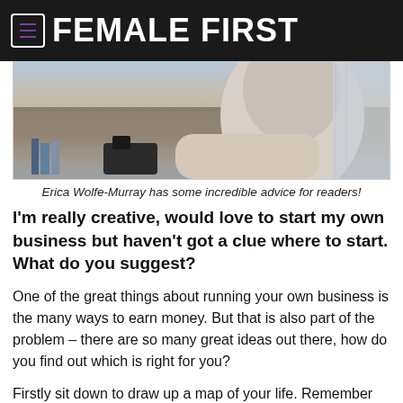FEMALE FIRST
[Figure (photo): A person working or studying, viewed from above, with books and objects on a surface. Partial view of a figure in a light shirt.]
Erica Wolfe-Murray has some incredible advice for readers!
I'm really creative, would love to start my own business but haven't got a clue where to start. What do you suggest?
One of the great things about running your own business is the many ways to earn money. But that is also part of the problem – there are so many great ideas out there, how do you find out which is right for you?
Firstly sit down to draw up a map of your life. Remember what you enjoyed at school, what qualifications you have, what different aspects there